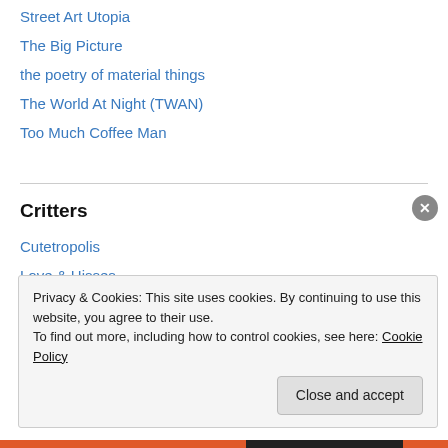Street Art Utopia
The Big Picture
the poetry of material things
The World At Night (TWAN)
Too Much Coffee Man
Critters
Cutetropolis
Love & Hisses
ZooBorns
Privacy & Cookies: This site uses cookies. By continuing to use this website, you agree to their use.
To find out more, including how to control cookies, see here: Cookie Policy
Close and accept